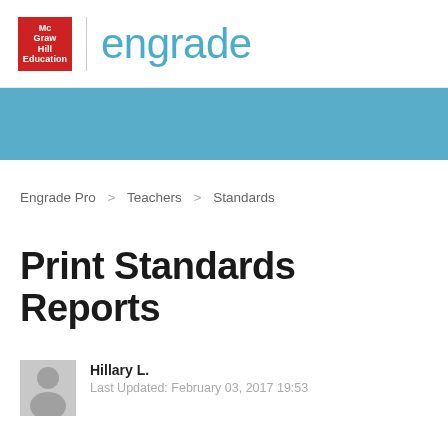[Figure (logo): McGraw Hill Education and Engrade logo header]
[Figure (other): Blue decorative banner bar]
Engrade Pro > Teachers > Standards
Print Standards Reports
Hillary L. Last Updated: February 03, 2017 19:53